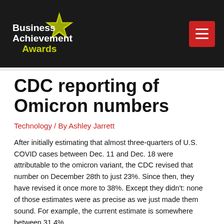[Figure (logo): Business Achievement Awards logo with white text and yellow-green star on dark background]
CDC reporting of Omicron numbers
Technology / By Ashley Jarrett
After initially estimating that almost three-quarters of U.S. COVID cases between Dec. 11 and Dec. 18 were attributable to the omicron variant, the CDC revised that number on December 28th to just 23%. Since then, they have revised it once more to 38%. Except they didn't: none of those estimates were as precise as we just made them sound. For example, the current estimate is somewhere between 31.4%